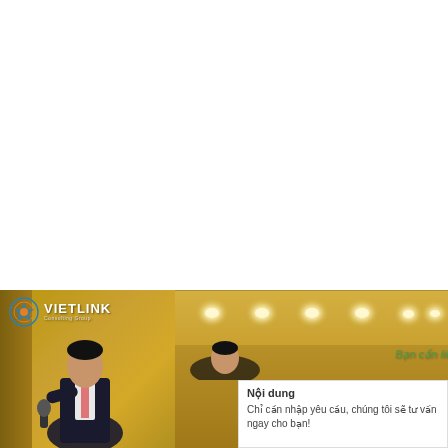[Figure (photo): Conference room scene with a man speaking into a microphone on the left, Vietlink logo visible in upper left corner of the photo. Right side shows conference room ceiling with recessed lights. Green italic text reads 'Bạn cần liên hệ đặt Dịch vụ?' overlaid on the right side. A white popup box in the lower right shows 'Nội dung' header with Vietnamese text 'Chỉ cần nhập yêu cầu, chúng tôi sẽ tư vấn ngay cho bạn!']
Nội dung
Chỉ cần nhập yêu cầu, chúng tôi sẽ tư vấn ngay cho bạn!